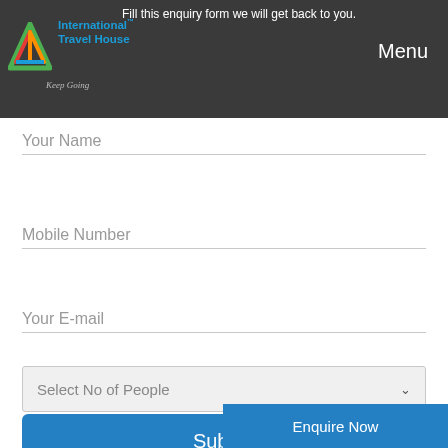Fill this enquiry form we will get back to you.
[Figure (logo): International Travel House logo with triangular icon and tagline 'Keep Going']
Menu
Your Name
Mobile Number
Your E-mail
Select No of People
Submit
Enquire Now